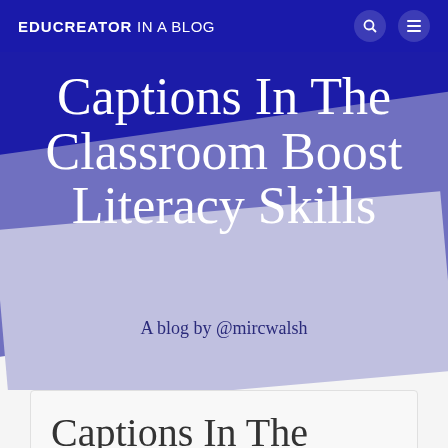EDUCREATOR IN A BLOG
Captions In The Classroom Boost Literacy Skills
A blog by @mircwalsh
Captions In The